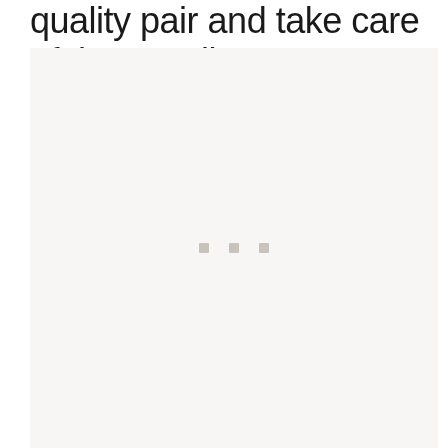quality pair and take care of them well.
[Figure (photo): A large light beige/off-white image placeholder area with three small gray square dots centered in the middle, suggesting a loading or placeholder image region.]